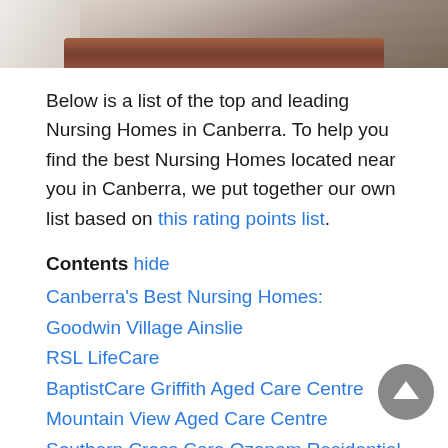[Figure (photo): Photo strip at top showing a wooden bench or table surface with background, partial image cropped]
Below is a list of the top and leading Nursing Homes in Canberra. To help you find the best Nursing Homes located near you in Canberra, we put together our own list based on this rating points list.
Contents hide
Canberra's Best Nursing Homes:
Goodwin Village Ainslie
RSL LifeCare
BaptistCare Griffith Aged Care Centre
Mountain View Aged Care Centre
Southern Cross Care Ozanam Residential Aged